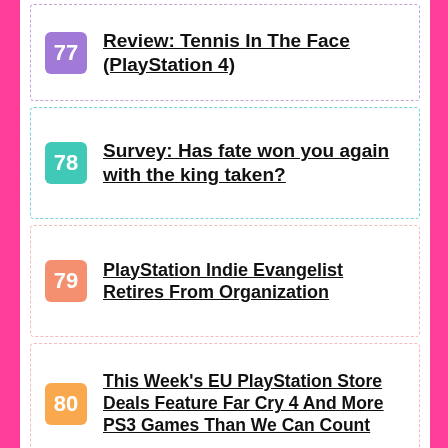77 Review: Tennis In The Face (PlayStation 4)
78 Survey: Has fate won you again with the king taken?
79 PlayStation Indie Evangelist Retires From Organization
80 This Week's EU PlayStation Store Deals Feature Far Cry 4 And More PS3 Games Than We Can Count